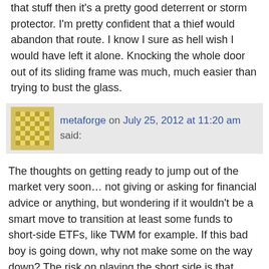that stuff then it's a pretty good deterrent or storm protector. I'm pretty confident that a thief would abandon that route. I know I sure as hell wish I would have left it alone. Knocking the whole door out of its sliding frame was much, much easier than trying to bust the glass.
metaforge on July 25, 2012 at 11:20 am said:
The thoughts on getting ready to jump out of the market very soon… not giving or asking for financial advice or anything, but wondering if it wouldn't be a smart move to transition at least some funds to short-side ETFs, like TWM for example. If this bad boy is going down, why not make some on the way down? The risk on playing the short side is that Uncle Ben decides to come out with QE3, and that will probably keep the market propped up. But absent that, I think you're right, and we're heading down soon.
By the way, PSLV is another physical silver ETF run by Eric Sprott. That's a good choice for holding paper silver. I wouldn't touch SLV with a ten foot pole. I am not familiar with SIVR until you mentioned it, though, so I don't know